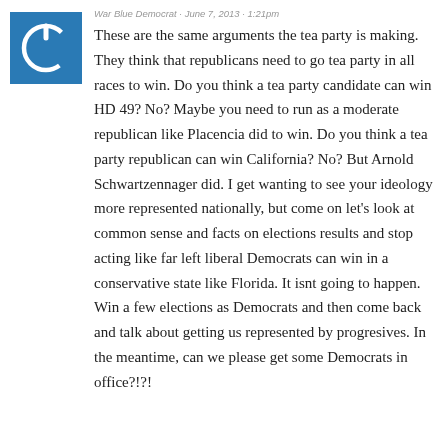[Figure (logo): Blue square avatar icon with a circular power/refresh symbol in white]
War Blue Democrat · June 7, 2013 · 1:21pm
These are the same arguments the tea party is making. They think that republicans need to go tea party in all races to win. Do you think a tea party candidate can win HD 49? No? Maybe you need to run as a moderate republican like Placencia did to win. Do you think a tea party republican can win California? No? But Arnold Schwartzennager did. I get wanting to see your ideology more represented nationally, but come on let’s look at common sense and facts on elections results and stop acting like far left liberal Democrats can win in a conservative state like Florida. It isnt going to happen. Win a few elections as Democrats and then come back and talk about getting us represented by progresives. In the meantime, can we please get some Democrats in office?!?!